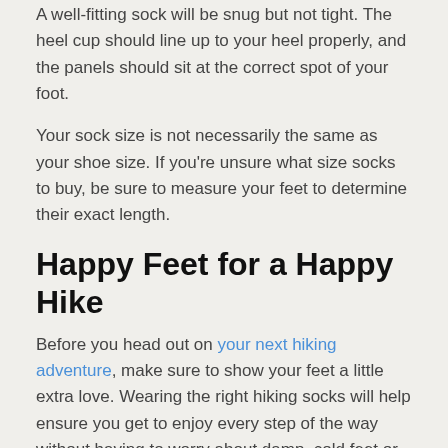A well-fitting sock will be snug but not tight. The heel cup should line up to your heel properly, and the panels should sit at the correct spot of your foot.
Your sock size is not necessarily the same as your shoe size. If you're unsure what size socks to buy, be sure to measure your feet to determine their exact length.
Happy Feet for a Happy Hike
Before you head out on your next hiking adventure, make sure to show your feet a little extra love. Wearing the right hiking socks will help ensure you get to enjoy every step of the way without having to worry about damp, cold feet or blisters.
Darn Tough Socks are a well-loved hiking sock company with plenty of different styles to choose from. From lightweight micro crews to rugged mountaineering socks, there's a pair sure to be perfect for you.
Want to learn more about all the best camping and hiking gear